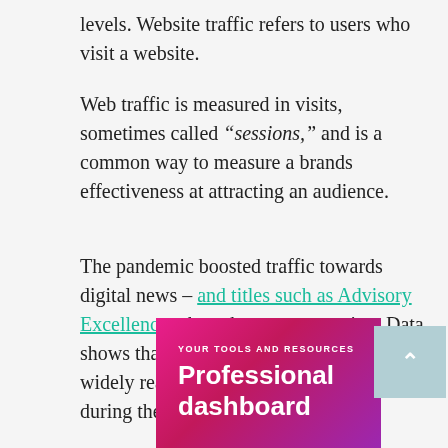levels. Website traffic refers to users who visit a website.
Web traffic is measured in visits, sometimes called “sessions,” and is a common way to measure a brands effectiveness at attracting an audience.
The pandemic boosted traffic towards digital news – and titles such as Advisory Excellence – have been no exception. Data shows that website traffic to the most widely read business titles also surged during the pandemic.
[Figure (screenshot): Pink/magenta gradient banner with text 'YOUR TOOLS AND RESOURCES' and 'Professional dashboard', with a teal scroll-to-top button on the right.]